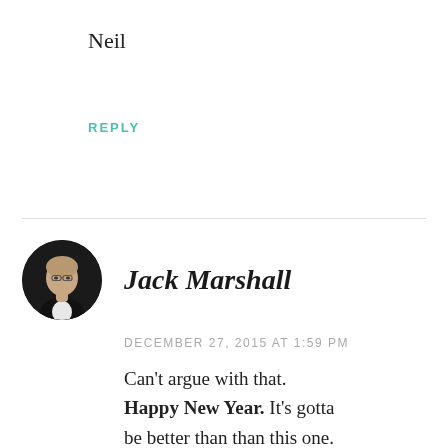Neil
REPLY
Jack Marshall
DECEMBER 27, 2015 AT 1:59 PM
Can't argue with that. Happy New Year. It's gotta be better than than this one.